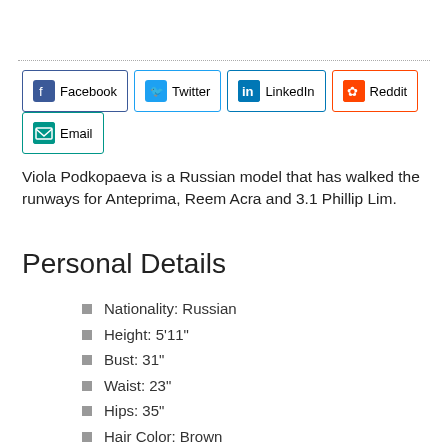[Figure (other): Social share buttons: Facebook, Twitter, LinkedIn, Reddit, Email]
Viola Podkopaeva is a Russian model that has walked the runways for Anteprima, Reem Acra and 3.1 Phillip Lim.
Personal Details
Nationality: Russian
Height: 5'11"
Bust: 31"
Waist: 23"
Hips: 35"
Hair Color: Brown
Eye Color: Brown